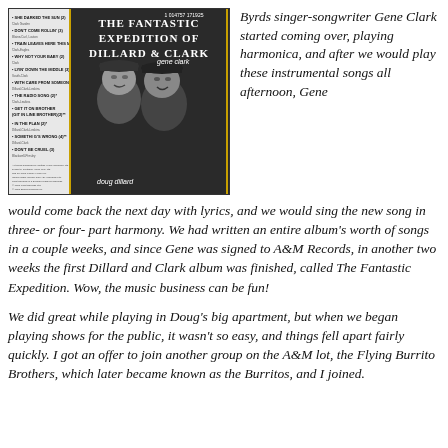[Figure (photo): Black and white album cover of 'The Fantastic Expedition of Dillard & Clark' showing two men in caps smiling, with track listing on the left side]
Byrds singer-songwriter Gene Clark started coming over, playing harmonica, and after we would play these instrumental songs all afternoon, Gene would come back the next day with lyrics, and we would sing the new song in three- or four- part harmony. We had written an entire album's worth of songs in a couple weeks, and since Gene was signed to A&M Records, in another two weeks the first Dillard and Clark album was finished, called The Fantastic Expedition. Wow, the music business can be fun!
We did great while playing in Doug's big apartment, but when we began playing shows for the public, it wasn't so easy, and things fell apart fairly quickly. I got an offer to join another group on the A&M lot, the Flying Burrito Brothers, which later became known as the Burritos, and I joined.